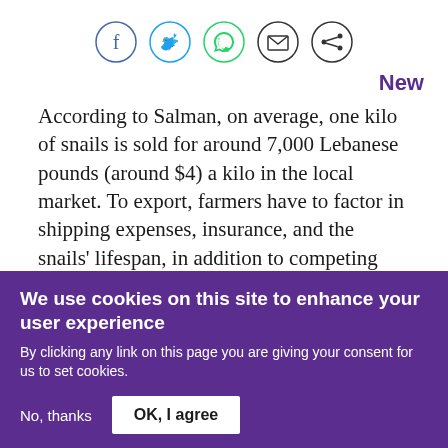[Figure (other): Row of five social sharing icon circles: Facebook (blue circle), Twitter (blue circle), WhatsApp (green circle), Email (dark circle), Share (dark circle)]
New
According to Salman, on average, one kilo of snails is sold for around 7,000 Lebanese pounds (around $4) a kilo in the local market. To export, farmers have to factor in shipping expenses, insurance, and the snails' lifespan, in addition to competing with set prices in Europe, which are much lower than the local market, Salman added.
We use cookies on this site to enhance your user experience
By clicking any link on this page you are giving your consent for us to set cookies.
No, thanks
OK, I agree